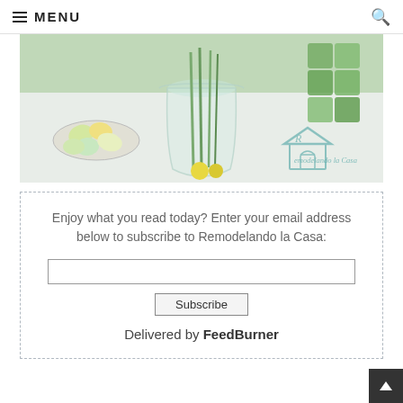≡ MENU
[Figure (photo): A table scene with a clear glass vase containing green stems, a plate of pastel-colored Easter eggs, and green tiles/decorations. The Remodelando la Casa logo watermark is visible in the lower right of the image.]
Enjoy what you read today? Enter your email address below to subscribe to Remodelando la Casa:
Delivered by FeedBurner